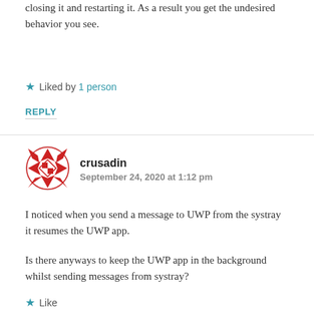closing it and restarting it. As a result you get the undesired behavior you see.
★ Liked by 1 person
REPLY
[Figure (illustration): Red and white geometric patterned circular avatar for user crusadin]
crusadin
September 24, 2020 at 1:12 pm
I noticed when you send a message to UWP from the systray it resumes the UWP app.
Is there anyways to keep the UWP app in the background whilst sending messages from systray?
★ Like